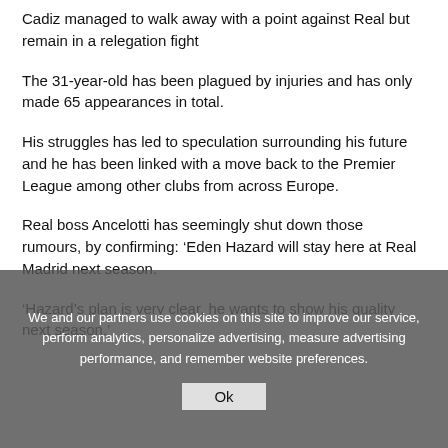Cadiz managed to walk away with a point against Real but remain in a relegation fight
The 31-year-old has been plagued by injuries and has only made 65 appearances in total.
His struggles has led to speculation surrounding his future and he has been linked with a move back to the Premier League among other clubs from across Europe.
Real boss Ancelotti has seemingly shut down those rumours, by confirming: ‘Eden Hazard will stay here at Real Madrid next season.
‘Hazard’s plan is very clear, he wants to show his quality next season.’
We and our partners use cookies on this site to improve our service, perform analytics, personalize advertising, measure advertising performance, and remember website preferences.